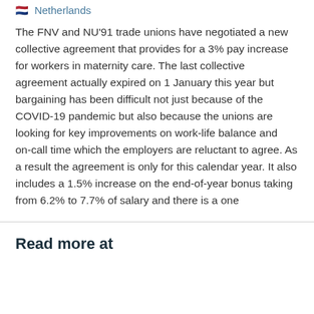Netherlands
The FNV and NU'91 trade unions have negotiated a new collective agreement that provides for a 3% pay increase for workers in maternity care. The last collective agreement actually expired on 1 January this year but bargaining has been difficult not just because of the COVID-19 pandemic but also because the unions are looking for key improvements on work-life balance and on-call time which the employers are reluctant to agree. As a result the agreement is only for this calendar year. It also includes a 1.5% increase on the end-of-year bonus taking from 6.2% to 7.7% of salary and there is a one
Read more at